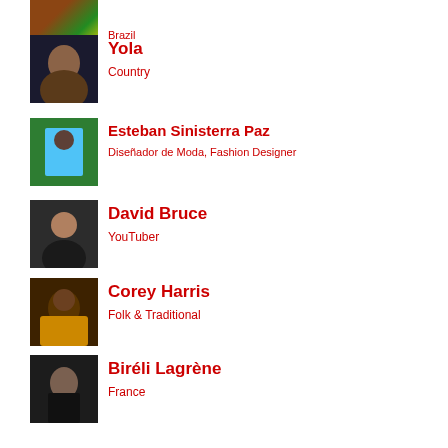Brazil
Yola
Country
Esteban Sinisterra Paz
Diseñador de Moda, Fashion Designer
David Bruce
YouTuber
Corey Harris
Folk & Traditional
Biréli Lagrène
France
Maurício Massunaga
Brasil, Brazil
Cara Stacey